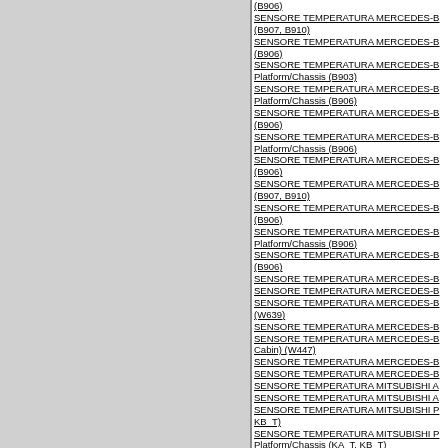(B906)
SENSORE TEMPERATURA MERCEDES-B... (B907, B910)
SENSORE TEMPERATURA MERCEDES-B... (B906)
SENSORE TEMPERATURA MERCEDES-B... Platform/Chassis (B903)
SENSORE TEMPERATURA MERCEDES-B... Platform/Chassis (B906)
SENSORE TEMPERATURA MERCEDES-B... (B906)
SENSORE TEMPERATURA MERCEDES-B... Platform/Chassis (B906)
SENSORE TEMPERATURA MERCEDES-B... (B906)
SENSORE TEMPERATURA MERCEDES-B... (B907, B910)
SENSORE TEMPERATURA MERCEDES-B... (B906)
SENSORE TEMPERATURA MERCEDES-B... Platform/Chassis (B906)
SENSORE TEMPERATURA MERCEDES-B... (B906)
SENSORE TEMPERATURA MERCEDES-B...
SENSORE TEMPERATURA MERCEDES-B...
SENSORE TEMPERATURA MERCEDES-B... (W639)
SENSORE TEMPERATURA MERCEDES-B...
SENSORE TEMPERATURA MERCEDES-B... Cabin) (W447)
SENSORE TEMPERATURA MERCEDES-B...
SENSORE TEMPERATURA MERCEDES-B...
SENSORE TEMPERATURA MITSUBISHI A...
SENSORE TEMPERATURA MITSUBISHI A...
SENSORE TEMPERATURA MITSUBISHI P... KB_T)
SENSORE TEMPERATURA MITSUBISHI P... Platform/Chassis (KA_T, KB_T)
SENSORE TEMPERATURA MITSUBISHI P...
SENSORE TEMPERATURA MITSUBISHI P... (CX_A)